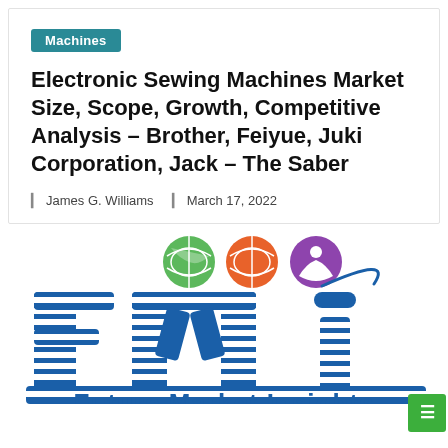Machines
Electronic Sewing Machines Market Size, Scope, Growth, Competitive Analysis – Brother, Feiyue, Juki Corporation, Jack – The Saber
James G. Williams   March 17, 2022
[Figure (logo): Future Market Insights (FMI) logo with blue striped letters f, m, i and colored globe icons (green USA, orange Europe, purple Americas) above the letters, with text 'Future Market Insights' below (partially cropped).]